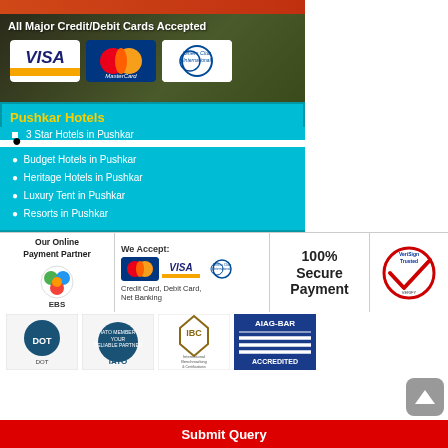[Figure (photo): Top banner strip - red/orange gradient]
[Figure (infographic): All Major Credit/Debit Cards Accepted banner with Visa, MasterCard, Diners Club International logos on dark green background]
Pushkar Hotels
3 Star Hotels in Pushkar
Budget Hotels in Pushkar
Heritage Hotels in Pushkar
Luxury Tent in Pushkar
Resorts in Pushkar
Our Online Payment Partner
[Figure (logo): EBS payment partner logo]
We Accept:
[Figure (logo): MasterCard, VISA, Diners Club International logos]
Credit Card, Debit Card, Net Banking
100% Secure Payment
[Figure (logo): VeriSign Trusted seal]
[Figure (logo): DOT logo]
[Figure (logo): IATO logo]
[Figure (logo): IBC International Benchmarking & Certifications logo]
[Figure (logo): AIAG-BAR Accredited logo]
Submit Query